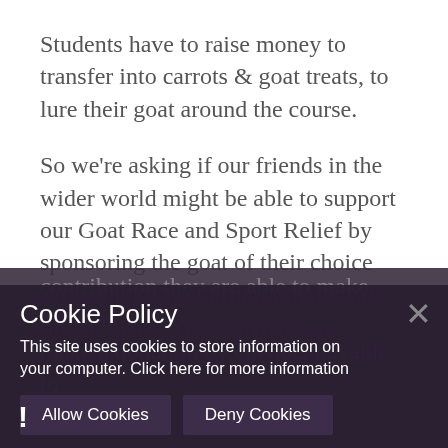Students have to raise money to transfer into carrots & goat treats, to lure their goat around the course.
So we're asking if our friends in the wider world might be able to support our Goat Race and Sport Relief by sponsoring the goat of their choice with whatever contribution they are able to make. You can make a donation by cheque, payable to
[Figure (screenshot): Cookie policy popup banner over a dark background image. Banner contains title 'Cookie Policy', body text about site cookie usage, and two buttons: 'Allow Cookies' and 'Deny Cookies', plus a close X button.]